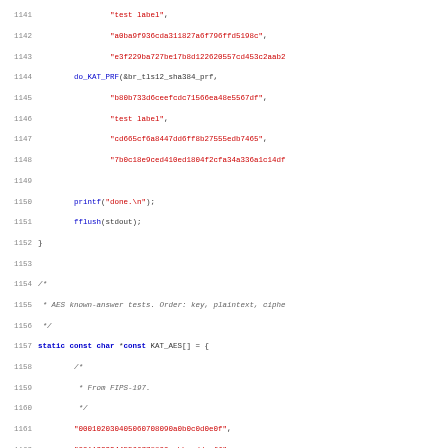[Figure (screenshot): C source code listing showing lines 1141-1172, including KAT PRF function calls, printf/fflush calls, and beginning of KAT_AES static const char array with AES known-answer test vectors from FIPS-197.]